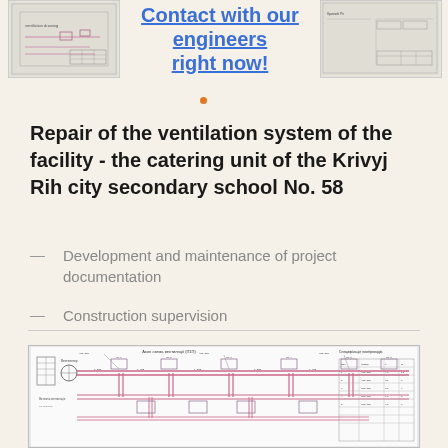[Figure (screenshot): Banner with engineering drawing thumbnail and 'Contact with our engineers right now!' CTA link]
Repair of the ventilation system of the facility - the catering unit of the Krivyj Rih city secondary school No. 58
Development and maintenance of project documentation
Construction supervision
[Figure (engineering-diagram): Ventilation system schematic diagram with duct layouts, components, and annotations in Ukrainian]